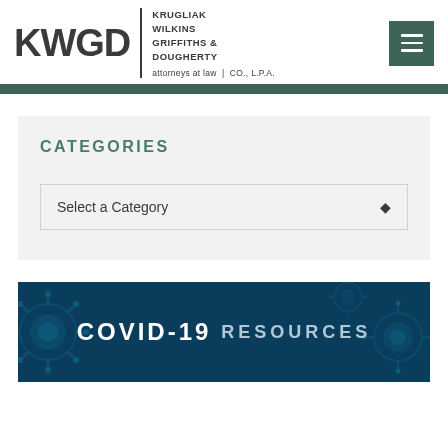[Figure (logo): KWGD law firm logo with text KRUGLIAK WILKINS GRIFFITHS & DOUGHERTY CO., L.P.A. attorneys at law]
CATEGORIES
Select a Category
[Figure (photo): COVID-19 RESOURCES banner with virus microscopy background image in dark blue tones]